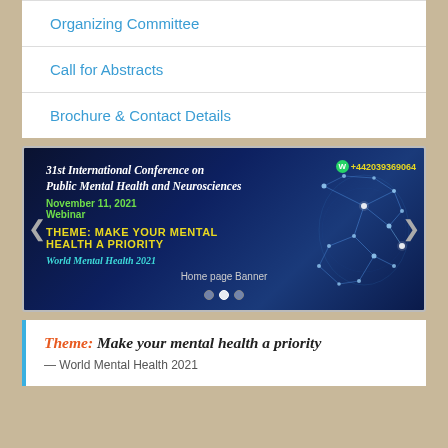Organizing Committee
Call for Abstracts
Brochure & Contact Details
[Figure (infographic): Conference banner for 31st International Conference on Public Mental Health and Neurosciences. November 11, 2021 Webinar. Theme: Make Your Mental Health A Priority. World Mental Health 2021. Phone: +442039369064. Brain illustration on right side.]
Theme: Make your mental health a priority
— World Mental Health 2021